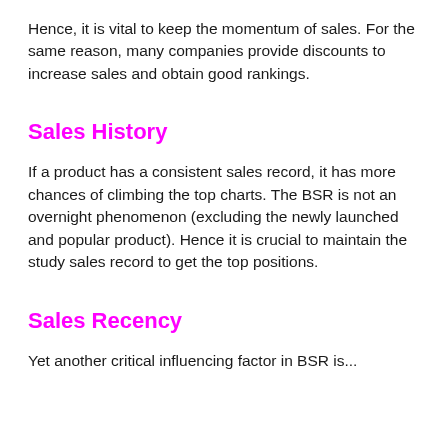Hence, it is vital to keep the momentum of sales. For the same reason, many companies provide discounts to increase sales and obtain good rankings.
Sales History
If a product has a consistent sales record, it has more chances of climbing the top charts. The BSR is not an overnight phenomenon (excluding the newly launched and popular product). Hence it is crucial to maintain the study sales record to get the top positions.
Sales Recency
Yet another critical influencing factor in BSR is...